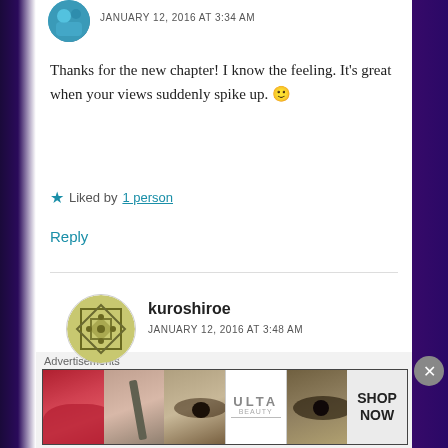JANUARY 12, 2016 AT 3:34 AM
Thanks for the new chapter! I know the feeling. It's great when your views suddenly spike up. 🙂
Liked by 1 person
Reply
kuroshiroe
JANUARY 12, 2016 AT 3:48 AM
Congratulations for the visitors and thanks for the chapter. !
[Figure (infographic): Ulta Beauty advertisement banner with makeup imagery and SHOP NOW call to action]